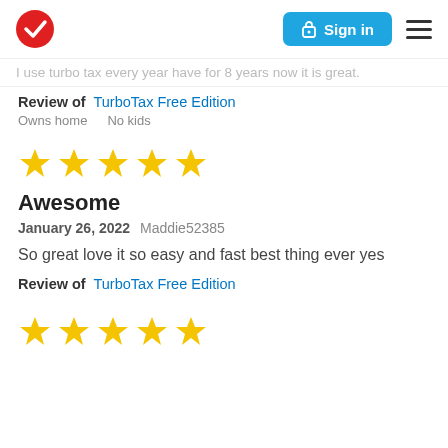TurboTax logo | Sign in | Menu
I use turbo tax every year have for 8 years now it is great.
Review of  TurboTax Free Edition
Owns home   No kids
[Figure (other): Five gold star rating]
Awesome
January 26, 2022 Maddie52385
So great love it so easy and fast best thing ever yes
Review of  TurboTax Free Edition
[Figure (other): Five gold star rating (partial view at bottom)]